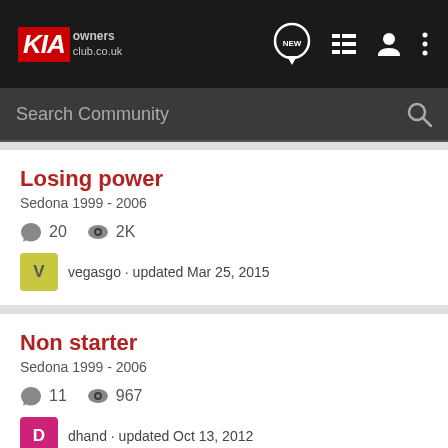KIA owners club.co.uk
Search Community
Losing power
Sedona 1999 - 2006
20 comments, 2K views
vegasgo · updated Mar 25, 2015
Non starter
Sedona 1999 - 2006
11 comments, 967 views
dhand · updated Oct 13, 2012
Here's a weird one!